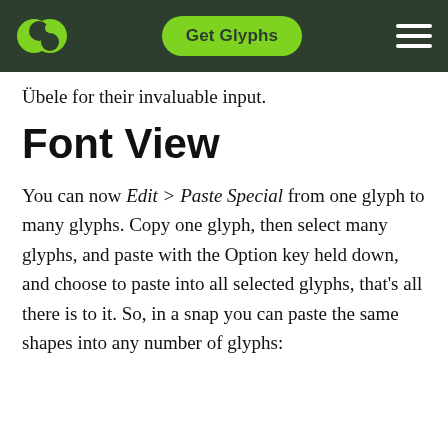Get Glyphs
Übele for their invaluable input.
Font View
You can now Edit > Paste Special from one glyph to many glyphs. Copy one glyph, then select many glyphs, and paste with the Option key held down, and choose to paste into all selected glyphs, that's all there is to it. So, in a snap you can paste the same shapes into any number of glyphs: